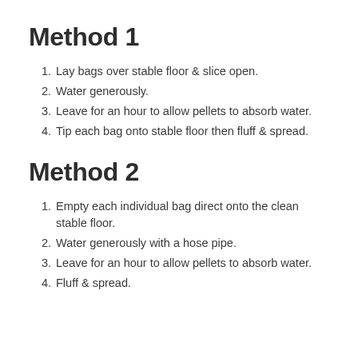Method 1
Lay bags over stable floor & slice open.
Water generously.
Leave for an hour to allow pellets to absorb water.
Tip each bag onto stable floor then fluff & spread.
Method 2
Empty each individual bag direct onto the clean stable floor.
Water generously with a hose pipe.
Leave for an hour to allow pellets to absorb water.
Fluff & spread.